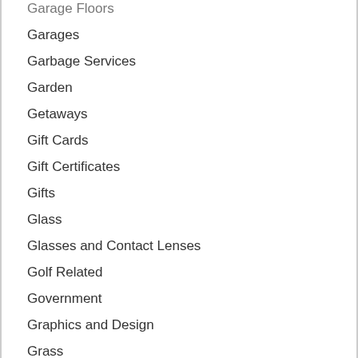Garage Floors
Garages
Garbage Services
Garden
Getaways
Gift Cards
Gift Certificates
Gifts
Glass
Glasses and Contact Lenses
Golf Related
Government
Graphics and Design
Grass
Gravel and Sand
Grocery Stores